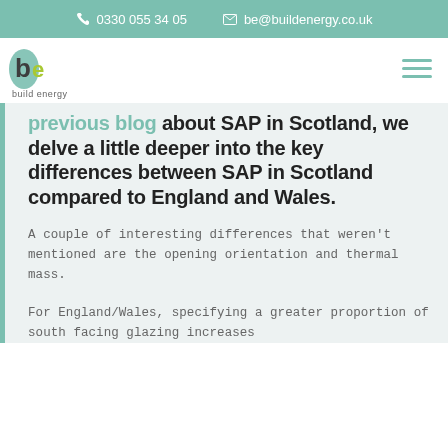0330 055 34 05   be@buildenergy.co.uk
[Figure (logo): Build Energy logo: stylized 'be' letters in green/olive colors with text 'build energy' below]
...a follow up to our previous blog about SAP in Scotland, we delve a little deeper into the key differences between SAP in Scotland compared to England and Wales.
A couple of interesting differences that weren't mentioned are the opening orientation and thermal mass.
For England/Wales, specifying a greater proportion of south facing glazing increases